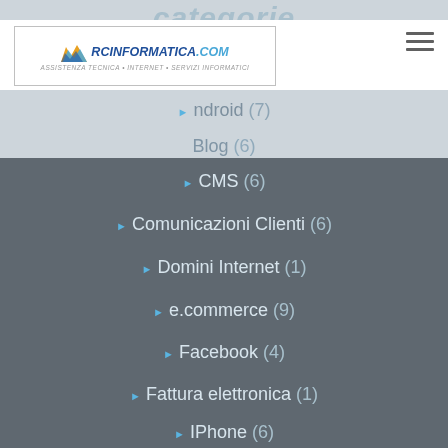[Figure (screenshot): Website header with rcinformatica.com logo on left and hamburger menu icon on right, on white background]
Android (7)
Blog (6)
CMS (6)
Comunicazioni Clienti (6)
Domini Internet (1)
e.commerce (9)
Facebook (4)
Fattura elettronica (1)
IPhone (6)
Mail (5)
Utilizziamo i cookie sul nostro sito Web per offrirti l'esperienza più pertinente; Ricordando le tue preferenze e le visite ripetute. Cliccando su "Accetta tutto" acconsenti all'uso di TUTTI i cookie. Tuttavia, puoi visitare 'Impostazioni cookie' per fornire un consenso controllato. Al seguente link puoi trovare la nostra Cookie Policy
Cookie Settings
Accept All